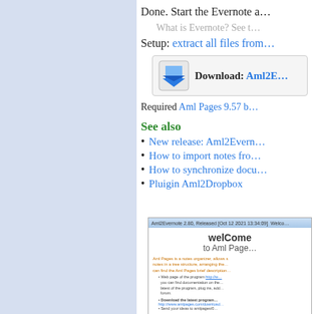Done. Start the Evernote a…
What is Evernote? See t…
Setup: extract all files from…
[Figure (other): Download button box: Download: Aml2E…]
Required Aml Pages 9.57 b…
See also
New release: Aml2Evern…
How to import notes fro…
How to synchronize docu…
Pluigin Aml2Dropbox
[Figure (screenshot): Screenshot of Aml Pages application showing welCome to Aml Pages welcome screen]